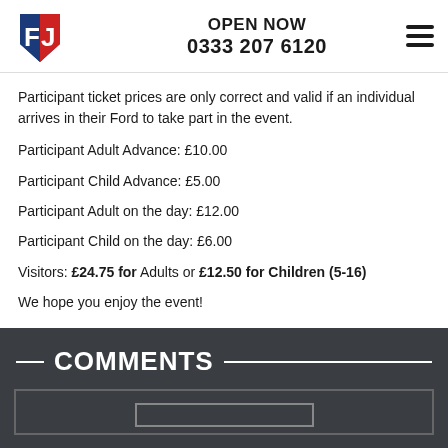OPEN NOW 0333 207 6120
Participant ticket prices are only correct and valid if an individual arrives in their Ford to take part in the event.
Participant Adult Advance: £10.00
Participant Child Advance: £5.00
Participant Adult on the day: £12.00
Participant Child on the day: £6.00
Visitors: £24.75 for Adults or £12.50 for Children (5-16)
We hope you enjoy the event!
COMMENTS